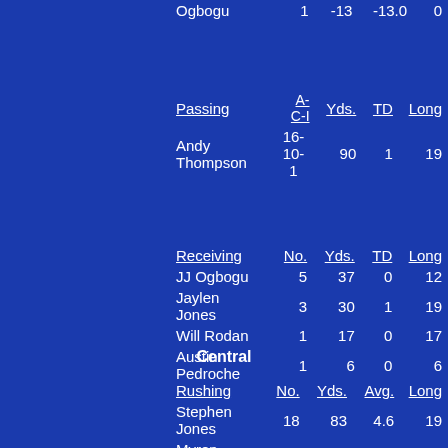|  | No. | Yds. | Avg. | Long |
| --- | --- | --- | --- | --- |
| Ogbogu | 1 | -13 | -13.0 | 0 |
| Passing | A-C-I | Yds. | TD | Long |
| --- | --- | --- | --- | --- |
| Andy Thompson | 16-10-1 | 90 | 1 | 19 |
| Receiving | No. | Yds. | TD | Long |
| --- | --- | --- | --- | --- |
| JJ Ogbogu | 5 | 37 | 0 | 12 |
| Jaylen Jones | 3 | 30 | 1 | 19 |
| Will Rodan | 1 | 17 | 0 | 17 |
| Austin Pedroche | 1 | 6 | 0 | 6 |
Central
| Rushing | No. | Yds. | Avg. | Long |
| --- | --- | --- | --- | --- |
| Stephen Jones | 18 | 83 | 4.6 | 19 |
| Myron... |  |  |  |  |